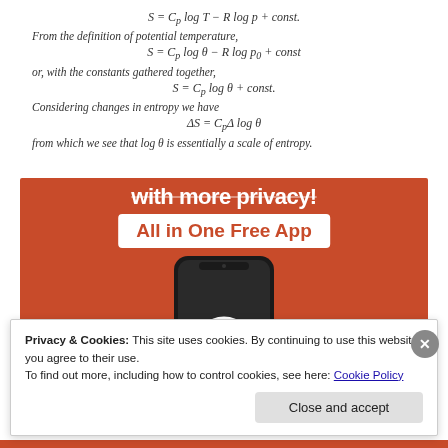From the definition of potential temperature,
or, with the constants gathered together,
Considering changes in entropy we have
from which we see that log θ is essentially a scale of entropy.
[Figure (screenshot): DuckDuckGo advertisement banner showing 'with more privacy!' text crossed out, 'All in One Free App' badge in white on orange background, and a smartphone showing the DuckDuckGo duck logo]
Privacy & Cookies: This site uses cookies. By continuing to use this website, you agree to their use.
To find out more, including how to control cookies, see here: Cookie Policy